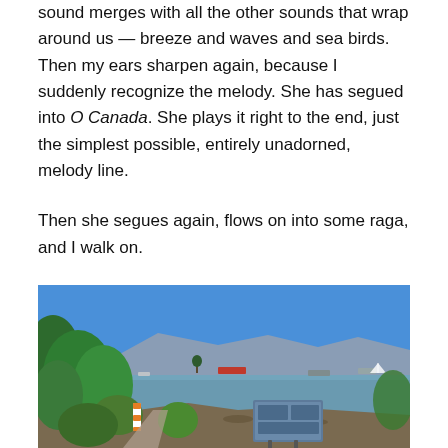sound merges with all the other sounds that wrap around us — breeze and waves and sea birds. Then my ears sharpen again, because I suddenly recognize the melody. She has segued into O Canada. She plays it right to the end, just the simplest possible, entirely unadorned, melody line.
Then she segues again, flows on into some raga, and I walk on.
[Figure (photo): Outdoor coastal scene showing a shoreline with calm water, mountains in the background under a blue sky, ships on the water, lush green trees and shrubs on the left, rocky beach, and an interpretive sign/information board in the foreground right. An orange and white striped safety barrel is visible on the left near a path.]